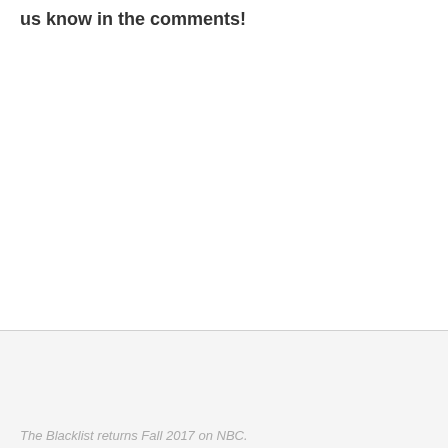us know in the comments!
[Figure (other): Close button (X in circle) in the bottom ad/banner section]
The Blacklist returns Fall 2017 on NBC.